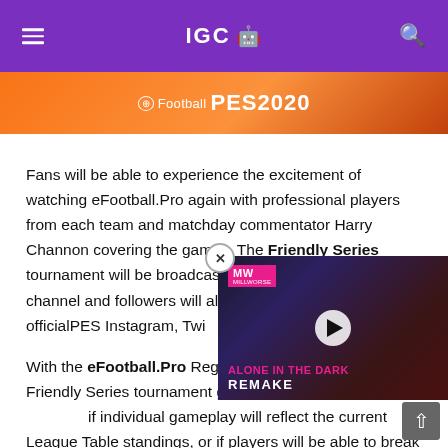IGC
[Figure (photo): eFootball PES 2020 orange banner with logo]
Fans will be able to experience the excitement of watching eFootball.Pro again with professional players from each team and matchday commentator Harry Channon covering the games. The Friendly Series tournament will be broadcast on the officialPES YouTube channel and followers will also find coverage on the officialPES Instagram, Twitter and Facebook accounts.
With the eFootball.Pro Regular Season over and the Friendly Series tournament giving fans a chance to discover if individual gameplay will reflect the current League Table standings, or if players will be able to break out of these rankings and perform differently.
[Figure (screenshot): Video overlay: Alone in the Dark Remake - MW logo on pink/dark background with play button]